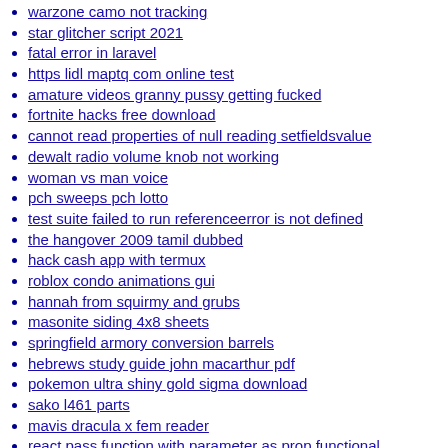warzone camo not tracking
star glitcher script 2021
fatal error in laravel
https lidl maptq com online test
amature videos granny pussy getting fucked
fortnite hacks free download
cannot read properties of null reading setfieldsvalue
dewalt radio volume knob not working
woman vs man voice
pch sweeps pch lotto
test suite failed to run referenceerror is not defined
the hangover 2009 tamil dubbed
hack cash app with termux
roblox condo animations gui
hannah from squirmy and grubs
masonite siding 4x8 sheets
springfield armory conversion barrels
hebrews study guide john macarthur pdf
pokemon ultra shiny gold sigma download
sako l461 parts
mavis dracula x fem reader
react pass function with parameter as prop functional component
roblox bypass filter generator
redeem code pubg lite